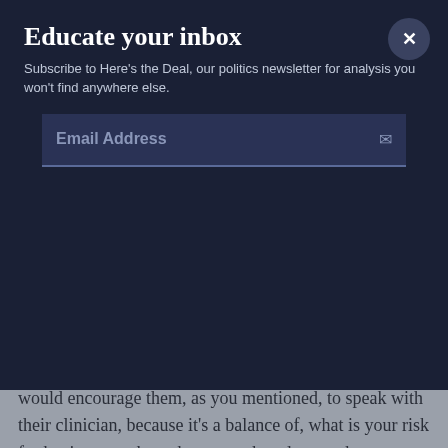Educate your inbox
Subscribe to Here's the Deal, our politics newsletter for analysis you won't find anywhere else.
Email Address
would encourage them, as you mentioned, to speak with their clinician, because it's a balance of, what is your risk for having a stroke or heart attack and, as we have discovered with new information, what is your risk for a bleeding complication from aspirin, and thinking about that balance of benefit vs. harm, and then coming to the right decision for yourself.